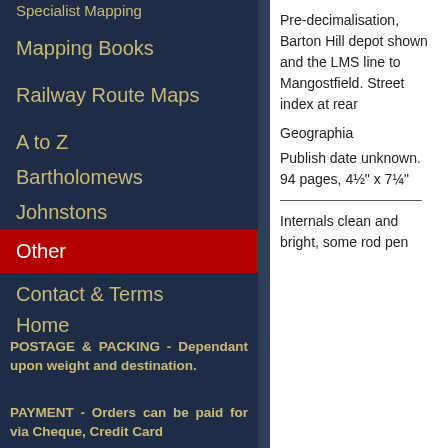Specialist Mapping
Mapping Books
Railway Route Maps
A to Z
Bartholomews
Johnstons
Other
Contact & Terms
Home
POSTAGE & PACKING - Dependant upon weight and destination.
PAYMENT - Orders can be paid for via Cheque, Credit Card
Pre-decimalisation, Barton Hill depot shown and the LMS line to Mangostfield. Street index at rear
Geographia
Publish date unknown. 94 pages, 4½" x 7¼"
Internals clean and bright, some rod pen...